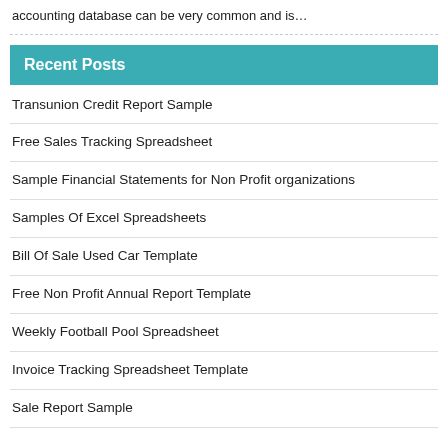accounting database can be very common and is…
Recent Posts
Transunion Credit Report Sample
Free Sales Tracking Spreadsheet
Sample Financial Statements for Non Profit organizations
Samples Of Excel Spreadsheets
Bill Of Sale Used Car Template
Free Non Profit Annual Report Template
Weekly Football Pool Spreadsheet
Invoice Tracking Spreadsheet Template
Sale Report Sample